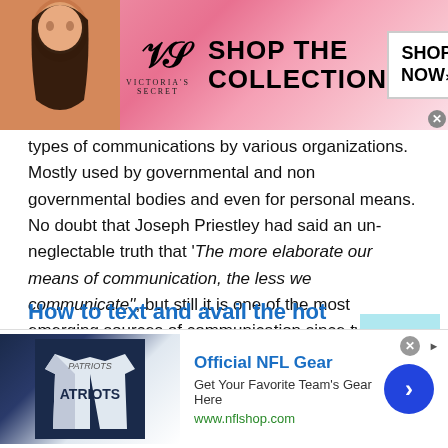[Figure (screenshot): Victoria's Secret advertisement banner with model, VS logo, 'SHOP THE COLLECTION' text, and 'SHOP NOW' button]
types of communications by various organizations. Mostly used by governmental and non governmental bodies and even for personal means. No doubt that Joseph Priestley had said an un-neglectable truth that 'The more elaborate our means of communication, the less we communicate'', but still it is one of the most emerging sources of communication since two decades.
How to text and avail the hot features of Moldovan Texting Online?
Texting is now considered to digital based, and time online...
[Figure (screenshot): Official NFL Gear advertisement with Patriots jersey image, text 'Get Your Favorite Team's Gear Here', www.nflshop.com URL, and blue arrow button]